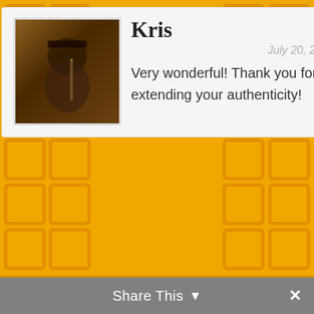Kris
July 20, 2013
Very wonderful! Thank you for extending your authenticity!
Frances
July 21, 2013
So beautiful!!! Thank you for your presence here. What a gift!
Share This ▼ ✕